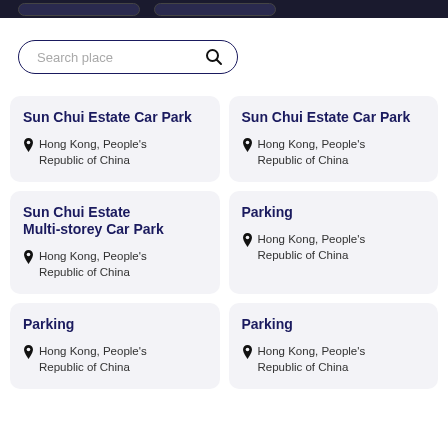[Figure (screenshot): Top navigation bar with two dark buttons on black background]
[Figure (screenshot): Search place input bar with search icon]
Sun Chui Estate Car Park
Hong Kong, People's Republic of China
Sun Chui Estate Car Park
Hong Kong, People's Republic of China
Sun Chui Estate Multi-storey Car Park
Hong Kong, People's Republic of China
Parking
Hong Kong, People's Republic of China
Parking
Hong Kong, People's Republic of China
Parking
Hong Kong, People's Republic of China